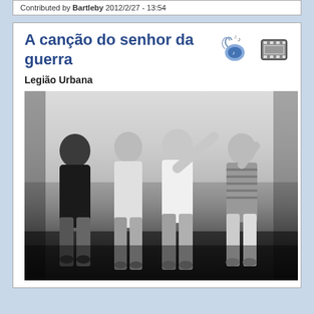Contributed by Bartleby 2012/2/27 - 13:54
A canção do senhor da guerra
Legião Urbana
[Figure (photo): Black and white photograph of four young men standing together, the band Legião Urbana]